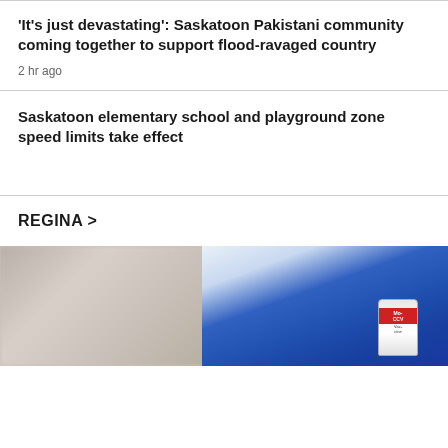'It's just devastating': Saskatoon Pakistani community coming together to support flood-ravaged country
2 hr ago
Saskatoon elementary school and playground zone speed limits take effect
REGINA >
[Figure (photo): Blue latex-gloved hand holding a Moderna COVID-19 vaccine vial, with blurred background on the left]